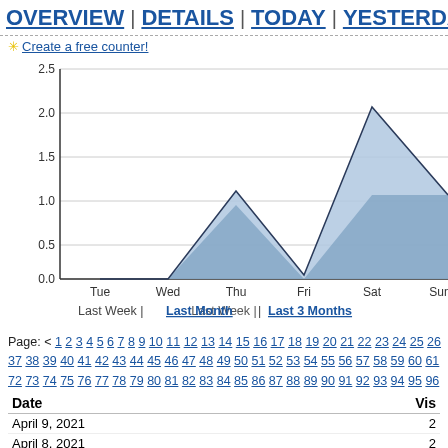OVERVIEW | DETAILS | TODAY | YESTERDAY |
✳ Create a free counter!
[Figure (area-chart): Last Week]
Page: < 1 2 3 4 5 6 7 8 9 10 11 12 13 14 15 16 17 18 19 20 21 22 23 24 25 26 37 38 39 40 41 42 43 44 45 46 47 48 49 50 51 52 53 54 55 56 57 58 59 60 61 72 73 74 75 76 77 78 79 80 81 82 83 84 85 86 87 88 89 90 91 92 93 94 95 96
| Date | Vis |
| --- | --- |
| April 9, 2021 | 2 |
| April 8, 2021 | 2 |